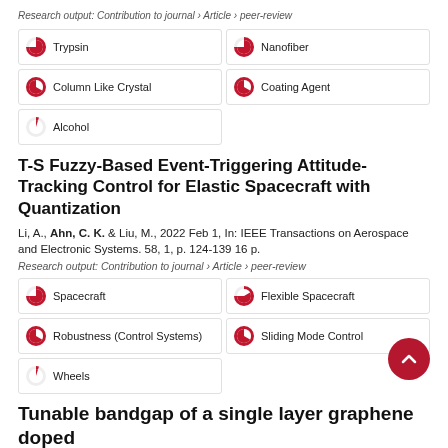Research output: Contribution to journal › Article › peer-review
Trypsin
Nanofiber
Column Like Crystal
Coating Agent
Alcohol
T-S Fuzzy-Based Event-Triggering Attitude-Tracking Control for Elastic Spacecraft with Quantization
Li, A., Ahn, C. K. & Liu, M., 2022 Feb 1, In: IEEE Transactions on Aerospace and Electronic Systems. 58, 1, p. 124-139 16 p.
Research output: Contribution to journal › Article › peer-review
Spacecraft
Flexible Spacecraft
Robustness (Control Systems)
Sliding Mode Control
Wheels
Tunable bandgap of a single layer graphene doped